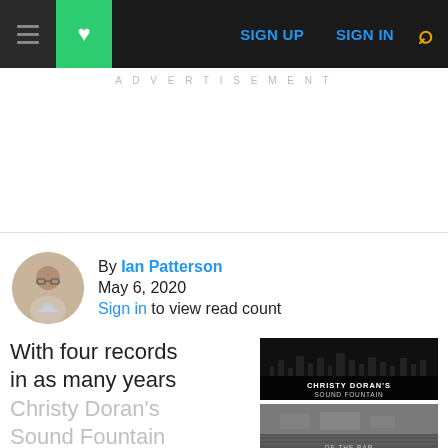Navigation bar with hamburger menu, favorites (heart), SIGN UP, SIGN IN, and search icon
ADVERTISEMENT
By Ian Patterson
May 6, 2020
Sign in to view read count
With four records in as many years
Christy Doran's Sound Fountain
[Figure (photo): Article thumbnail image - dark photo at top, grayscale photo below; overlay text reads CHRISTY DORAN'S SOUND FOUNTAIN OF THE BAR]
CHRISTY DORAN'S
SOUND FOUNTAIN
OF THE BAR